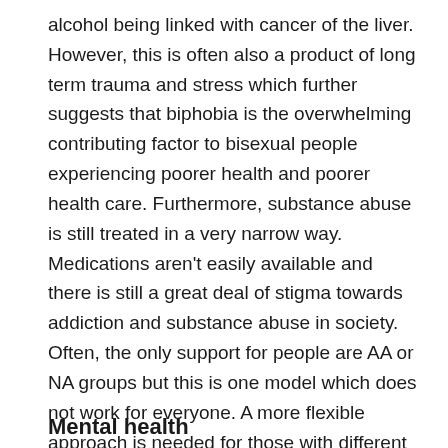alcohol being linked with cancer of the liver. However, this is often also a product of long term trauma and stress which further suggests that biphobia is the overwhelming contributing factor to bisexual people experiencing poorer health and poorer health care. Furthermore, substance abuse is still treated in a very narrow way. Medications aren't easily available and there is still a great deal of stigma towards addiction and substance abuse in society. Often, the only support for people are AA or NA groups but this is one model which does not work for everyone. A more flexible approach is needed for those with different needs and experiences. It's time health care moved beyond narrow stereotypes as it can be evidenced by the entire history of the LGBTQ community that this approach always fails.
Mental health